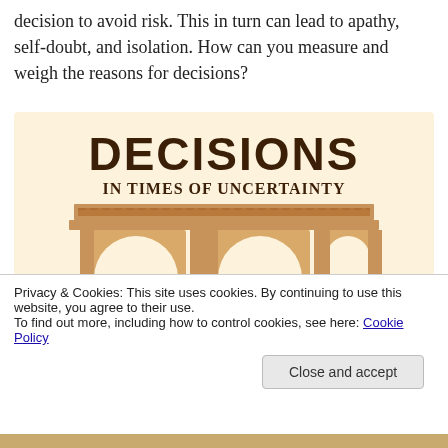decision to avoid risk. This in turn can lead to apathy, self-doubt, and isolation. How can you measure and weigh the reasons for decisions?
[Figure (infographic): Infographic titled 'DECISIONS IN TIMES OF UNCERTAINTY' showing a classical building facade with three archways labeled 'Take Action', 'No Action', and 'Alt Action', each with an upward arrow beneath.]
Privacy & Cookies: This site uses cookies. By continuing to use this website, you agree to their use.
To find out more, including how to control cookies, see here: Cookie Policy
Close and accept